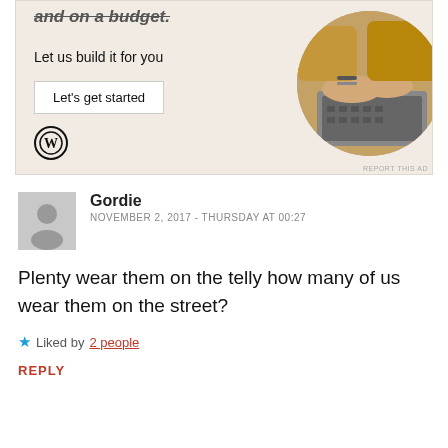[Figure (screenshot): WordPress advertisement banner with beige background, text 'and on a budget. Let us build it for you', a 'Let's get started' button, a circular photo of hands typing on a laptop, and the WordPress logo.]
Gordie
NOVEMBER 2, 2017 - THURSDAY AT 00:27
Plenty wear them on the telly how many of us wear them on the street?
★ Liked by 2 people
REPLY